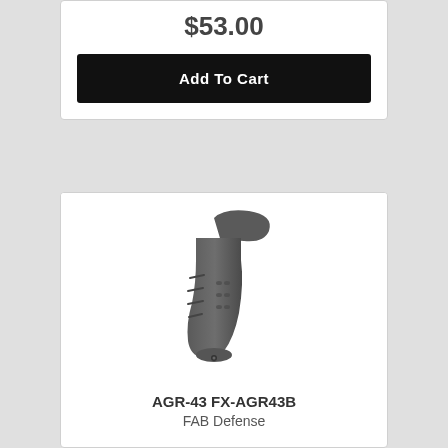$53.00
Add To Cart
[Figure (photo): AGR-43 FX-AGR43B pistol grip by FAB Defense, dark gray polymer firearm grip accessory with textured surface and beavertail extension]
AGR-43 FX-AGR43B
FAB Defense
$29.99
Add To Cart